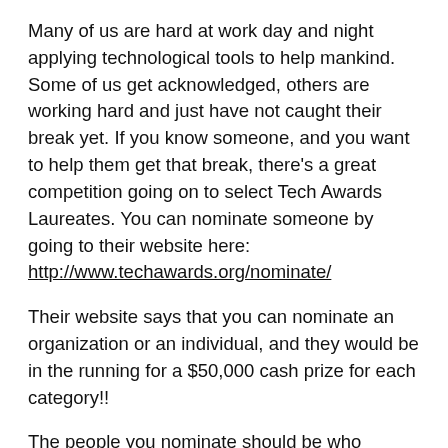Many of us are hard at work day and night applying technological tools to help mankind. Some of us get acknowledged, others are working hard and just have not caught their break yet. If you know someone, and you want to help them get that break, there's a great competition going on to select Tech Awards Laureates. You can nominate someone by going to their website here: http://www.techawards.org/nominate/
Their website says that you can nominate an organization or an individual, and they would be in the running for a $50,000 cash prize for each category!!
The people you nominate should be who respond to humanity's most pressing problems by applying a technological solution. They must demonstrate that they have sought to profoundly improve the human condition.